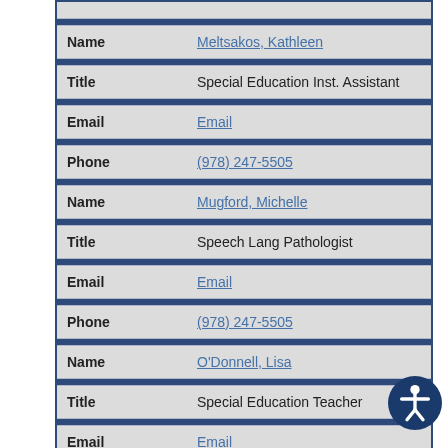| Field | Value |
| --- | --- |
| Name | Meltsakos, Kathleen |
| Title | Special Education Inst. Assistant |
| Email | Email |
| Phone | (978) 247-5505 |
| Name | Mugford, Michelle |
| Title | Speech Lang Pathologist |
| Email | Email |
| Phone | (978) 247-5505 |
| Name | O'Donnell, Lisa |
| Title | Special Education Teacher |
| Email | Email |